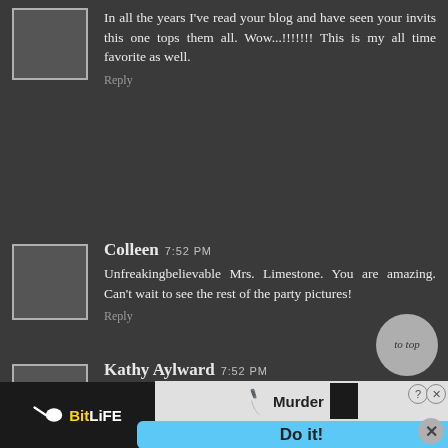In all the years I've read your blog and have seen your invits this one tops them all. Wow...!!!!!!! This is my all time favorite as well.
Reply
Colleen 7:52 PM
Unfreakingbelievable Mrs. Limestone. You are amazing. Can't wait to see the rest of the party pictures!
Reply
Kathy Aylward 7:52 PM
Your invitations are just amazing....your talents never cease to amaze me...Regards Kathy A, Brisbane, Australia
[Figure (screenshot): BitLife advertisement banner at the bottom of the page showing BitLife logo with sperm icon and yellow text, knife icon, Murder text, Do it! blue button, help and close icons.]